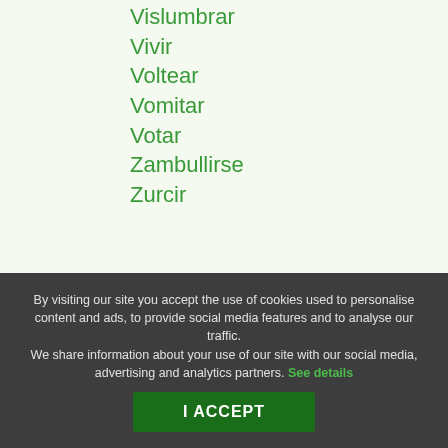Vislumbrar
Vivir
Voltear
Vomitar
Votar
Zambullirse
Zurcir
By visiting our site you accept the use of cookies used to personalise content and ads, to provide social media features and to analyse our traffic. We share information about your use of our site with our social media, advertising and analytics partners. See details
I ACCEPT